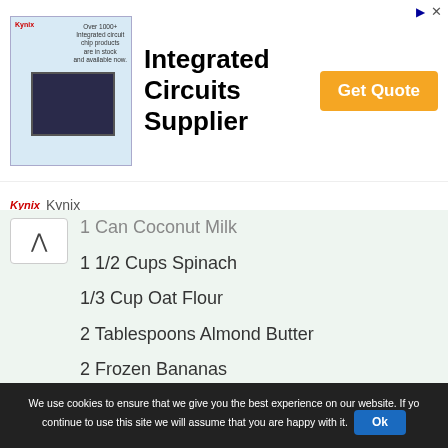[Figure (other): Kynix advertisement banner for Integrated Circuits Supplier with chip image, Get Quote button, and Kynix logo footer]
1 Can Coconut Milk
1 1/2 Cups Spinach
1/3 Cup Oat Flour
2 Tablespoons Almond Butter
2 Frozen Bananas
1 Hass Avocado
2 Teaspoons Vanilla Extract
Instructions
1. Add ingredients into a blender and blend
We use cookies to ensure that we give you the best experience on our website. If you continue to use this site we will assume that you are happy with it. Ok